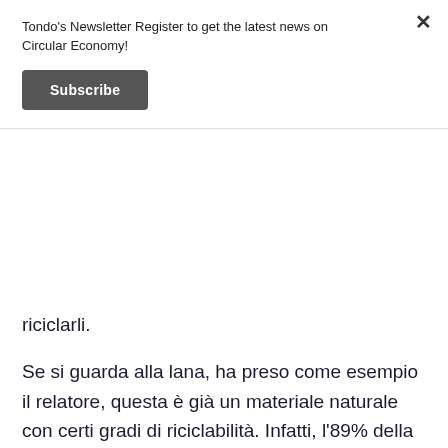Tondo's Newsletter Register to get the latest news on Circular Economy!
Subscribe
riciclarli.
Se si guarda alla lana, ha preso come esempio il relatore, questa è già un materiale naturale con certi gradi di riciclabilità. Infatti, l'89% della lana che loro utilizzano finisce nel prodotto effettivo, l'1.5% sono scarti tessili inutilizzabili e che devono essere purtroppo smaltiti, ed il restante 9.5% non utilizzato